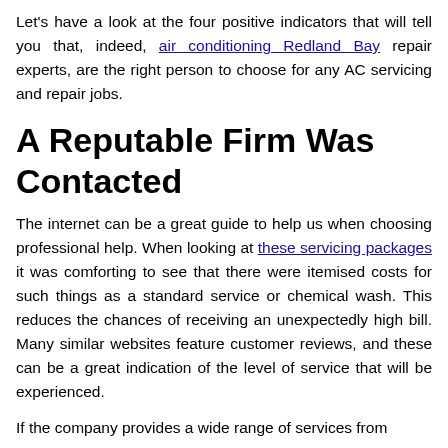Let's have a look at the four positive indicators that will tell you that, indeed, air conditioning Redland Bay repair experts, are the right person to choose for any AC servicing and repair jobs.
A Reputable Firm Was Contacted
The internet can be a great guide to help us when choosing professional help. When looking at these servicing packages it was comforting to see that there were itemised costs for such things as a standard service or chemical wash. This reduces the chances of receiving an unexpectedly high bill. Many similar websites feature customer reviews, and these can be a great indication of the level of service that will be experienced.
If the company provides a wide range of services from